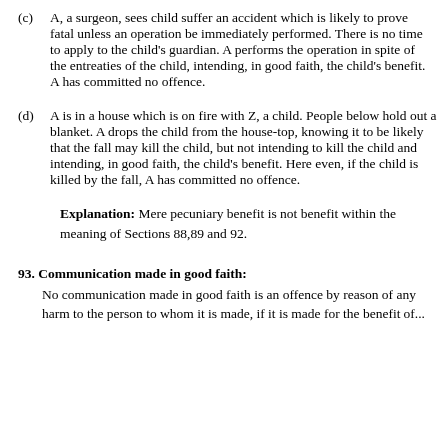(c) A, a surgeon, sees child suffer an accident which is likely to prove fatal unless an operation be immediately performed. There is no time to apply to the child's guardian. A performs the operation in spite of the entreaties of the child, intending, in good faith, the child's benefit. A has committed no offence.
(d) A is in a house which is on fire with Z, a child. People below hold out a blanket. A drops the child from the house-top, knowing it to be likely that the fall may kill the child, but not intending to kill the child and intending, in good faith, the child's benefit. Here even, if the child is killed by the fall, A has committed no offence.
Explanation: Mere pecuniary benefit is not benefit within the meaning of Sections 88,89 and 92.
93. Communication made in good faith:
No communication made in good faith is an offence by reason of any harm to the person to whom it is made, if it is made for the benefit of...